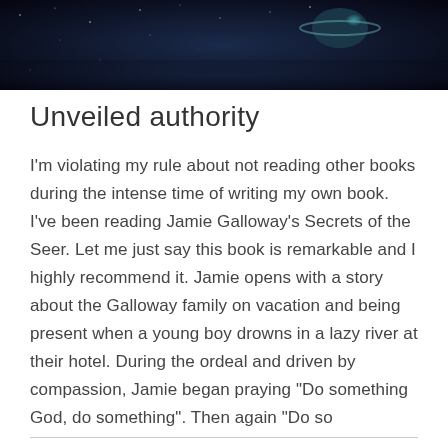[Figure (photo): Dark space/night sky image with a planet or moon visible at the top of the page, serving as a hero image for the blog post.]
Unveiled authority
I'm violating my rule about not reading other books during the intense time of writing my own book. I've been reading Jamie Galloway's Secrets of the Seer. Let me just say this book is remarkable and I highly recommend it. Jamie opens with a story about the Galloway family on vacation and being present when a young boy drowns in a lazy river at their hotel. During the ordeal and driven by compassion, Jamie began praying "Do something God, do something". Then again "Do so